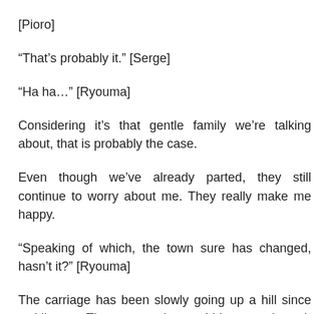[Pioro]
“That’s probably it.” [Serge]
“Ha ha…” [Ryouma]
Considering it’s that gentle family we’re talking about, that is probably the case.
Even though we’ve already parted, they still continue to worry about me. They really make me happy.
“Speaking of which, the town sure has changed, hasn’t it?” [Ryouma]
The carriage has been slowly going up a hill since awhile ago. The scenery that could be seen through the window gradually changed from a lively townscape of